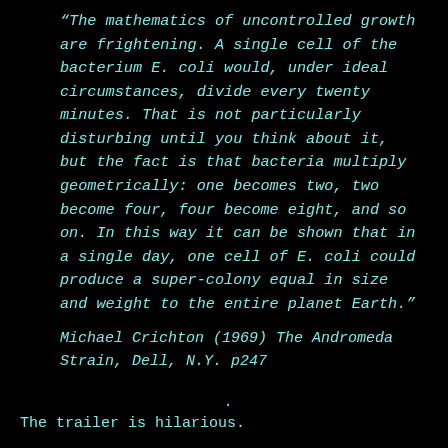“The mathematics of uncontrolled growth are frightening. A single cell of the bacterium E. coli would, under ideal circumstances, divide every twenty minutes. That is not particularly disturbing until you think about it, but the fact is that bacteria multiply geometrically: one becomes two, two become four, four become eight, and so on. In this way it can be shown that in a single day, one cell of E. coli could produce a super-colony equal in size and weight to the entire planet Earth.”
Michael Crichton (1969) The Andromeda Strain, Dell, N.Y. p247
.
The trailer is hilarious.